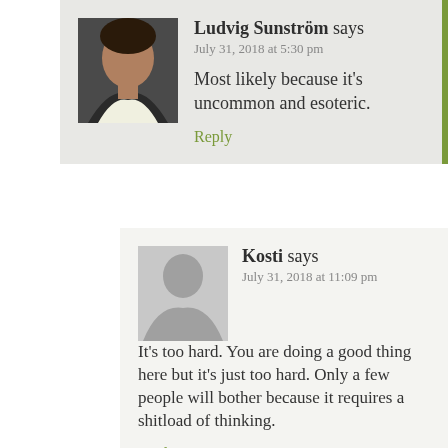Ludvig Sunström says
July 31, 2018 at 5:30 pm
Most likely because it's uncommon and esoteric.
Reply
Kosti says
July 31, 2018 at 11:09 pm
It's too hard. You are doing a good thing here but it's just too hard. Only a few people will bother because it requires a shitload of thinking.
Reply